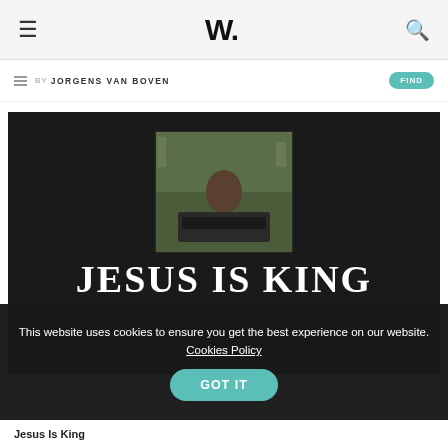W.
BY JORGENS VAN BOVEN
[Figure (photo): Dark album cover image with text 'JESUS IS KING' in large white serif letters, with a small photograph of a person at a keyboard instrument overlaid in the center. Dark/black background.]
This website uses cookies to ensure you get the best experience on our website. Cookies Policy
GOT IT
Jesus Is King